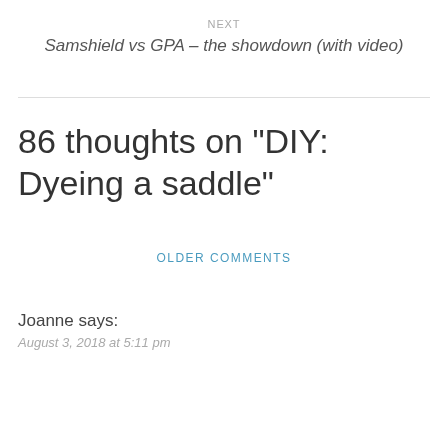NEXT
Samshield vs GPA – the showdown (with video)
86 thoughts on “DIY: Dyeing a saddle”
OLDER COMMENTS
Joanne says:
August 3, 2018 at 5:11 pm